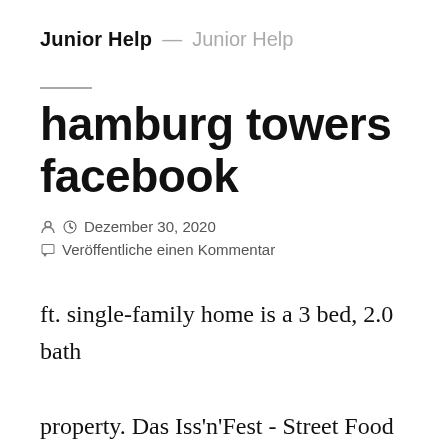Junior Help — Junior Help
hamburg towers facebook
Dezember 30, 2020
Veröffentliche einen Kommentar
ft. single-family home is a 3 bed, 2.0 bath property. Das Iss'n'Fest - Street Food Markt